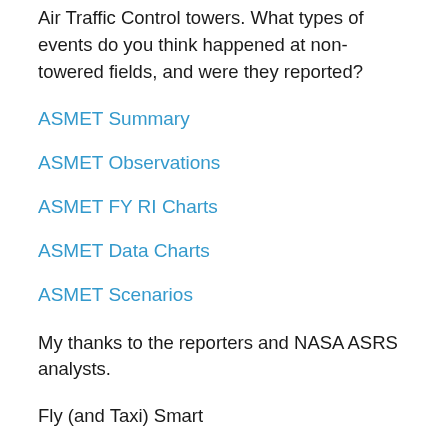Air Traffic Control towers. What types of events do you think happened at non-towered fields, and were they reported?
ASMET Summary
ASMET Observations
ASMET FY RI Charts
ASMET Data Charts
ASMET Scenarios
My thanks to the reporters and NASA ASRS analysts.
Fly (and Taxi) Smart
Clark